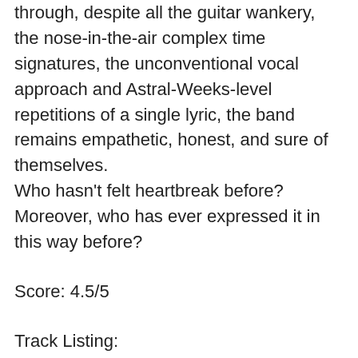through, despite all the guitar wankery, the nose-in-the-air complex time signatures, the unconventional vocal approach and Astral-Weeks-level repetitions of a single lyric, the band remains empathetic, honest, and sure of themselves. Who hasn't felt heartbreak before? Moreover, who has ever expressed it in this way before?
Score: 4.5/5
Track Listing:
1. ...
2. Burn
3. Hey, Mr. Paul
4. Miss You